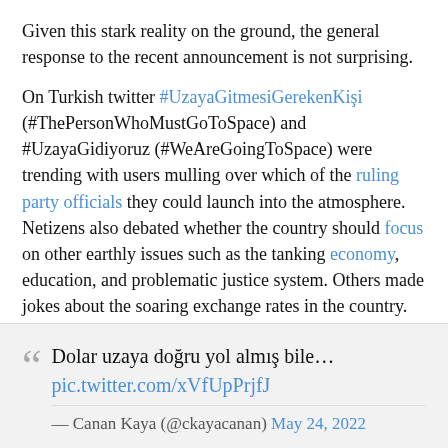Given this stark reality on the ground, the general response to the recent announcement is not surprising.
On Turkish twitter #UzayaGitmesiGerekenKişi (#ThePersonWhoMustGoToSpace) and #UzayaGidiyoruz (#WeAreGoingToSpace) were trending with users mulling over which of the ruling party officials they could launch into the atmosphere. Netizens also debated whether the country should focus on other earthly issues such as the tanking economy, education, and problematic justice system. Others made jokes about the soaring exchange rates in the country.
Dolar uzaya doğru yol almış bile… pic.twitter.com/xVfUpPrjfJ — Canan Kaya (@ckayacanan) May 24, 2022